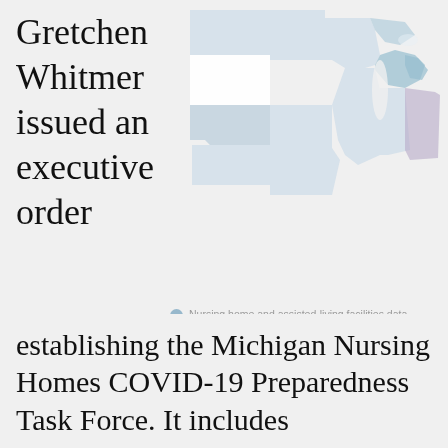Gretchen Whitmer issued an executive order
[Figure (map): Map of US Midwest/Great Lakes states showing nursing home and assisted-living facilities data reporting categories by state, with states shaded in light blue, medium blue, and gray tones. Includes a legend showing: Nursing home and assisted-living facilities data combined; Nursing home data reported, assisted-living data excluded; Nursing home and assisted-living facilities data reported separately; No state-level data reported. Source: Kaiser Family Foundation.]
establishing the Michigan Nursing Homes COVID-19 Preparedness Task Force. It includes